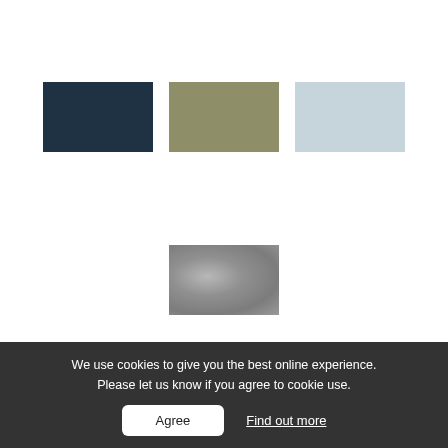[Figure (illustration): Three color swatches in a row: dark navy blue, olive/sage green, and pale light blue rectangles]
[Figure (illustration): One color swatch: concrete gray textured rectangle, centered below the top row]
We use cookies to give you the best online experience. Please let us know if you agree to cookie use.
Agree
Find out more